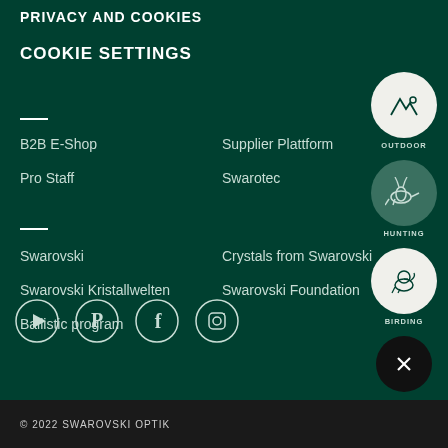PRIVACY AND COOKIES
COOKIE SETTINGS
B2B E-Shop
Supplier Plattform
Pro Staff
Swarotec
Swarovski
Crystals from Swarovski
Swarovski Kristallwelten
Swarovski Foundation
Ballistic program
[Figure (logo): Social media icons: YouTube, Pinterest, Facebook, Instagram]
[Figure (infographic): Side activity badges: OUTDOOR (mountain icon), HUNTING (deer icon), BIRDING (bird icon), close button (X)]
© 2022 SWAROVSKI OPTIK